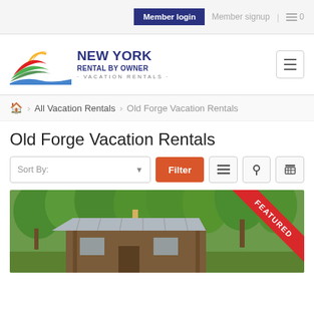Member login | Member signup | 0
[Figure (logo): New York Rental By Owner - Vacation Rentals logo with colorful wave/hills graphic]
All Vacation Rentals > Old Forge Vacation Rentals
Old Forge Vacation Rentals
Sort By: | Filter
[Figure (photo): A wooden cabin/lodge surrounded by green trees with a FEATURED ribbon in the upper right corner]